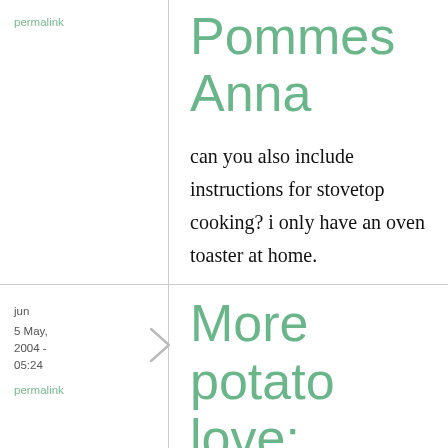permalink
Pommes Anna
can you also include instructions for stovetop cooking? i only have an oven toaster at home.
jun
5 May, 2004 - 05:24
permalink
More potato love: Classic Pommes